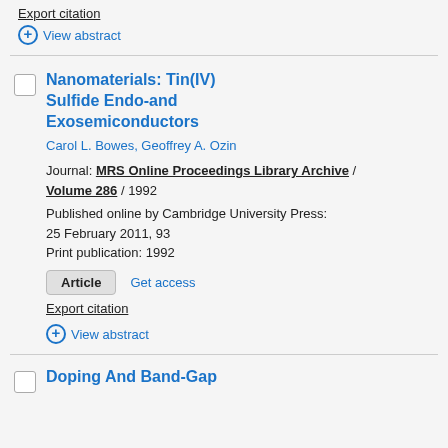Export citation
⊕ View abstract
Nanomaterials: Tin(IV) Sulfide Endo-and Exosemiconductors
Carol L. Bowes, Geoffrey A. Ozin
Journal: MRS Online Proceedings Library Archive / Volume 286 / 1992
Published online by Cambridge University Press: 25 February 2011, 93
Print publication: 1992
Article   Get access
Export citation
⊕ View abstract
Doping And Band-Gap